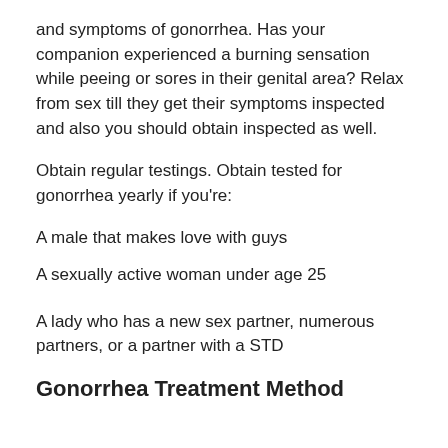and symptoms of gonorrhea. Has your companion experienced a burning sensation while peeing or sores in their genital area? Relax from sex till they get their symptoms inspected and also you should obtain inspected as well.
Obtain regular testings. Obtain tested for gonorrhea yearly if you're:
A male that makes love with guys
A sexually active woman under age 25
A lady who has a new sex partner, numerous partners, or a partner with a STD
Gonorrhea Treatment Method